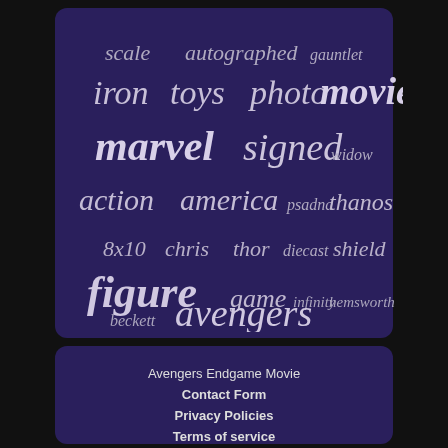[Figure (infographic): Word cloud on dark purple background with Marvel/Avengers related terms in varying sizes: scale, autographed, gauntlet, iron, toys, photo, movie, marvel, signed, widow, action, america, psadna, thanos, 8x10, chris, thor, diecast, shield, figure, game, infinity, hemsworth, beckett, avengers]
Avengers Endgame Movie
Contact Form
Privacy Policies
Terms of service
EN FR